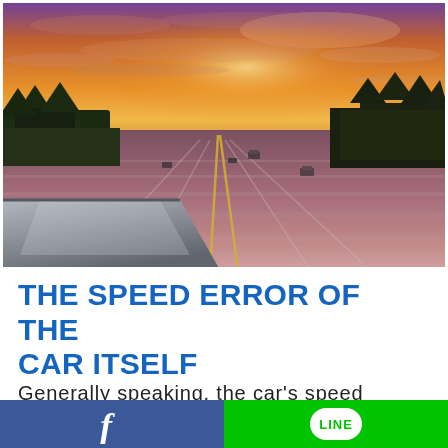[Figure (photo): A car driving fast on a multi-lane highway at sunset/dusk, viewed from the hood of the car. The sky is vivid orange, pink, and purple with clouds. Motion blur on the road surface. Trees visible on both sides of the highway.]
THE SPEED ERROR OF THE CAR ITSELF
Generally speaking, the car's speed
f  LINE